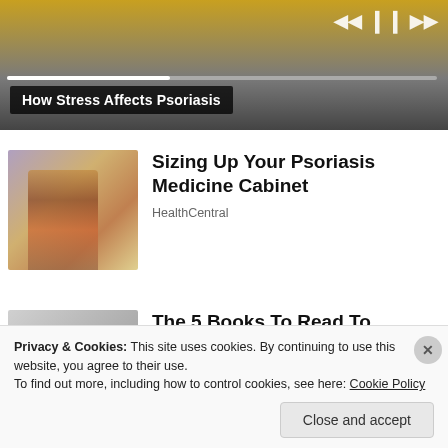[Figure (screenshot): Video player showing a person in a yellow outfit, with playback controls (skip back, pause, skip forward) at top right, a progress bar, and a title overlay reading 'How Stress Affects Psoriasis']
How Stress Affects Psoriasis
[Figure (photo): Thumbnail photo of a person browsing shelves in a pharmacy or store]
Sizing Up Your Psoriasis Medicine Cabinet
HealthCentral
[Figure (photo): Thumbnail photo showing a person's head/face from above]
The 5 Books To Read To Transform Your Life in 2022
Privacy & Cookies: This site uses cookies. By continuing to use this website, you agree to their use.
To find out more, including how to control cookies, see here: Cookie Policy
Close and accept